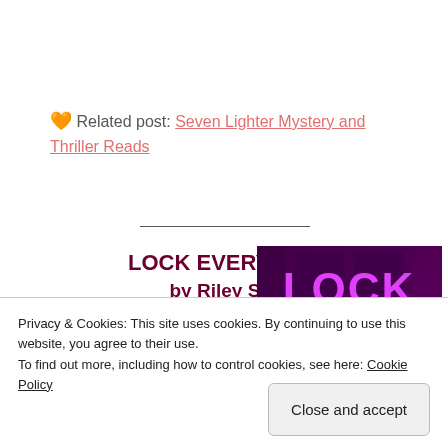🧡 Related post: Seven Lighter Mystery and Thriller Reads
[Figure (illustration): Book cover for Lock Every Door by Riley Sager with pink/purple neon letters on a dark door background]
LOCK EVERY DOOR by Riley Sager
Riley Sager is one of the best mystery-thriller authors I've
Privacy & Cookies: This site uses cookies. By continuing to use this website, you agree to their use. To find out more, including how to control cookies, see here: Cookie Policy
Close and accept
Door. Needing the money,